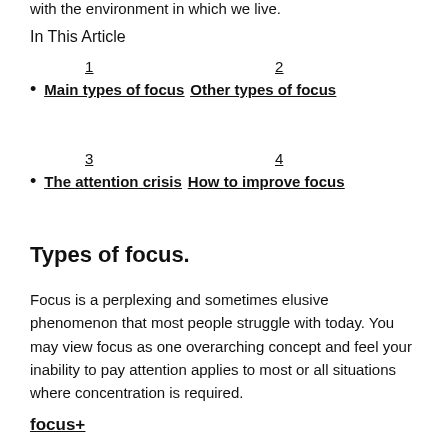with the environment in which we live.
In This Article
1  2
• Main types of focus  Other types of focus
3  4
• The attention crisis  How to improve focus
Types of focus.
Focus is a perplexing and sometimes elusive phenomenon that most people struggle with today. You may view focus as one overarching concept and feel your inability to pay attention applies to most or all situations where concentration is required.
focus+